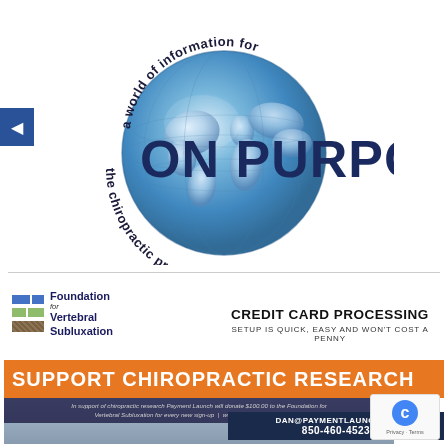[Figure (logo): On Purpose logo: a blue globe with curved text 'a world of information for' on top and 'the chiropractic profession' on bottom, with large bold dark blue text 'ON PURPOSE' across the center]
[Figure (infographic): Advertisement for Foundation for Vertebral Subluxation and Payment Launch credit card processing. Top section shows Foundation logo with colored blocks and text 'Foundation for Vertebral Subluxation' alongside 'CREDIT CARD PROCESSING - SETUP IS QUICK, EASY AND WON'T COST A PENNY'. Orange banner reads 'SUPPORT CHIROPRACTIC RESEARCH'. Small italic text: 'In support of chiropractic research Payment Launch will donate $100.00 to the Foundation for Vertebral Subluxation for every new sign-up | www.vertebralsubluxation.org'. Contact info: DAN@PAYMENTLAUNCH.CO and 850-460-4523]